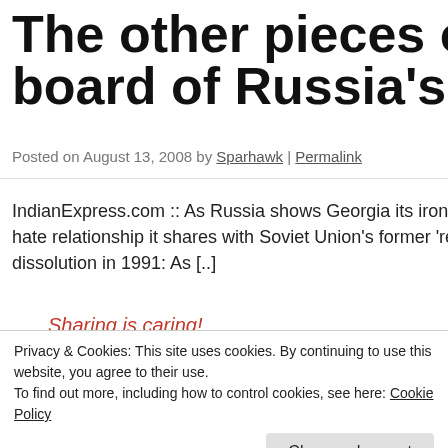The other pieces on the board of Russia's tho
Posted on August 13, 2008 by Sparhawk | Permalink
IndianExpress.com :: As Russia shows Georgia its iron hand... hate relationship it shares with Soviet Union's former 'republics' since its dissolution in 1991: As [..]
[Figure (infographic): Sharing is caring! widget with social media icons: Twitter, Facebook, Pinterest, Email, More]
Privacy & Cookies: This site uses cookies. By continuing to use this website, you agree to their use.
To find out more, including how to control cookies, see here: Cookie Policy
Close and accept
well, and